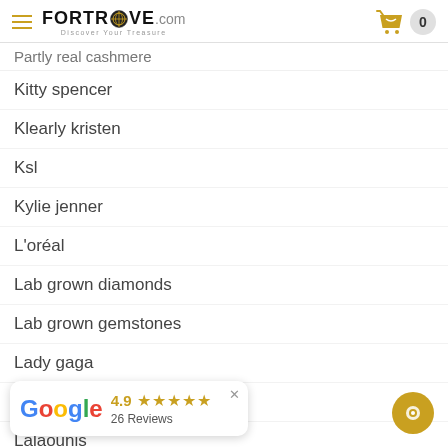FORTROVE.com — Discover Your Treasure
Kitty spencer
Klearly kristen
Ksl
Kylie jenner
L'oréal
Lab grown diamonds
Lab grown gemstones
Lady gaga
Lagos
Lalaounis
[Figure (other): Google review widget showing 4.9 rating with 5 stars and 26 Reviews, with a close button]
[Figure (other): Gold circular chat button at bottom right]